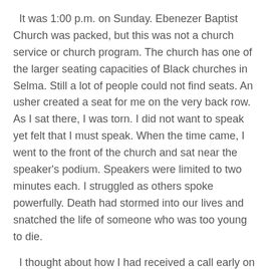It was 1:00 p.m. on Sunday. Ebenezer Baptist Church was packed, but this was not a church service or church program. The church has one of the larger seating capacities of Black churches in Selma. Still a lot of people could not find seats. An usher created a seat for me on the very back row. As I sat there, I was torn. I did not want to speak yet felt that I must speak. When the time came, I went to the front of the church and sat near the speaker's podium. Speakers were limited to two minutes each. I struggled as others spoke powerfully. Death had stormed into our lives and snatched the life of someone who was too young to die.
I thought about how I had received a call early on Sunday morning. It awakened me, but I did not answer. The caller kept calling and calling, but I still did not answer. Finally, I relented. I felt that it had to be something both important and urgent. However, I have had too many early morning calls that were important but not at all urgent. Every call is important to me, but not all are urgent. I was glad I answered, and I was also sorry I answered. Death came storming into our lives.